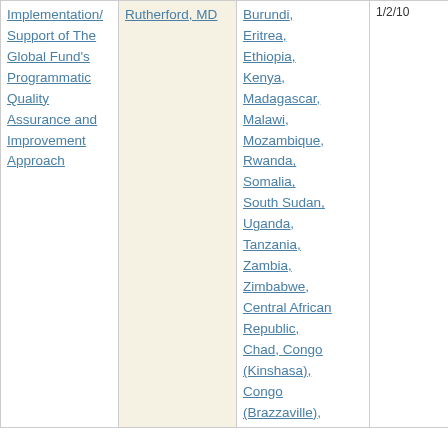| [Activity] | [Person] | [Countries] | [Start] | [End] |
| --- | --- | --- | --- | --- |
| Implementation/Support of The Global Fund's Programmatic Quality Assurance and Improvement Approach | Rutherford, MD | Burundi, Eritrea, Ethiopia, Kenya, Madagascar, Malawi, Mozambique, Rwanda, Somalia, South Sudan, Uganda, Tanzania, Zambia, Zimbabwe, Central African Republic, Chad, Congo (Kinshasa), Congo (Brazzaville), | 1/2/10 | 12/31/11 |